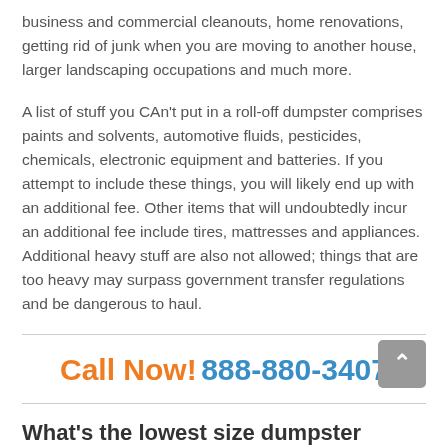business and commercial cleanouts, home renovations, getting rid of junk when you are moving to another house, larger landscaping occupations and much more.
A list of stuff you CAn't put in a roll-off dumpster comprises paints and solvents, automotive fluids, pesticides, chemicals, electronic equipment and batteries. If you attempt to include these things, you will likely end up with an additional fee. Other items that will undoubtedly incur an additional fee include tires, mattresses and appliances. Additional heavy stuff are also not allowed; things that are too heavy may surpass government transfer regulations and be dangerous to haul.
Call Now! 888-880-3407
What's the lowest size dumpster